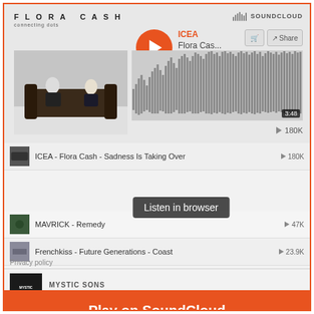[Figure (screenshot): SoundCloud embedded player showing Flora Cash - ICEA track with waveform, album art, and playlist]
FLORA CASH
SOUNDCLOUD
ICEA
Flora Cas...
3:48
180K
ICEA - Flora Cash - Sadness Is Taking Over
180K
Play on SoundCloud
Listen in browser
MAVRICK - Remedy
47K
Frenchkiss - Future Generations - Coast
23.9K
MYSTIC SONS
Mystic Sons Roster Playlist
Privacy policy